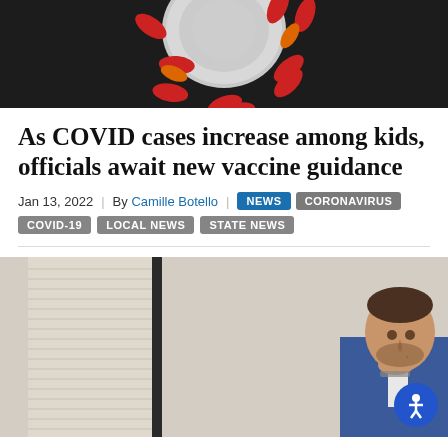[Figure (photo): Close-up photo of a red coronavirus particle model against a dark background]
As COVID cases increase among kids, officials await new vaccine guidance
Jan 13, 2022 | By Camille Botello | NEWS | CORONAVIRUS | COVID-19 | LOCAL NEWS | STATE NEWS
[Figure (photo): A man in a blue suit looking downward, photographed indoors with blinds and a wall in the background]